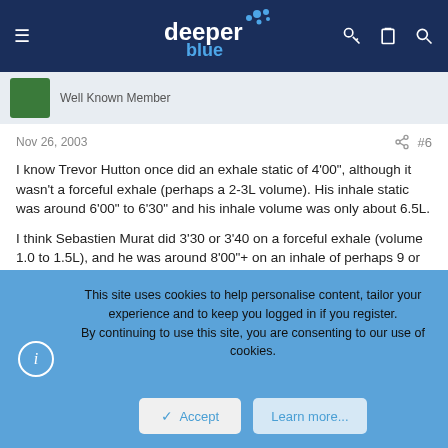deeper blue
Well Known Member
Nov 26, 2003  #6
I know Trevor Hutton once did an exhale static of 4'00", although it wasn't a forceful exhale (perhaps a 2-3L volume). His inhale static was around 6'00" to 6'30" and his inhale volume was only about 6.5L.

I think Sebastien Murat did 3'30 or 3'40 on a forceful exhale (volume 1.0 to 1.5L), and he was around 8'00"+ on an inhale of perhaps 9 or 10L.

However, the 'blood potential' calculation isn't necessarily an indication of O2 stored in the blood. A higher hematocrit means that you can stay conscious on a lower level of total O2 storage. So it gets complicated.
This site uses cookies to help personalise content, tailor your experience and to keep you logged in if you register.
By continuing to use this site, you are consenting to our use of cookies.